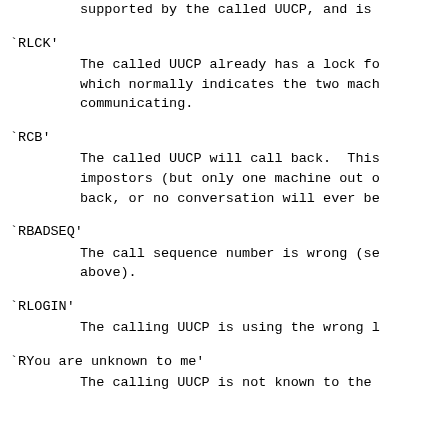supported by the called UUCP, and is
`RLCK'
    The called UUCP already has a lock fo which normally indicates the two mach communicating.
`RCB'
    The called UUCP will call back.  This impostors (but only one machine out c back, or no conversation will ever be
`RBADSEQ'
    The call sequence number is wrong (se above).
`RLOGIN'
    The calling UUCP is using the wrong l
`RYou are unknown to me'
    The calling UUCP is not known to the